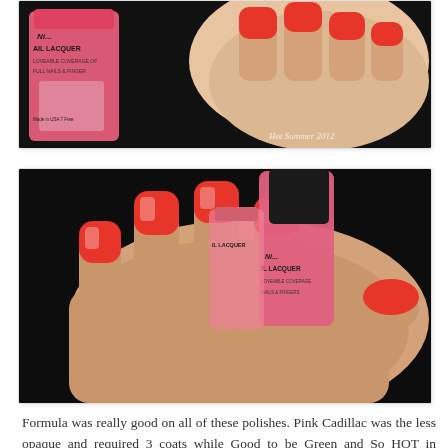[Figure (photo): Close-up photo of hand holding red-coral nail polish bottle labeled 'Nail Lacquer' with painted nails showing bright red-coral color, watermark 'Hot Summer 2012' in bottom right corner]
[Figure (photo): Close-up photo of hand with red-coral painted nails holding a pink nail lacquer bottle with black cap, showing multiple fingers with glossy red-coral nail polish]
Formula was really good on all of these polishes. Pink Cadillac was the less opaque and required 3 coats while Good to be Green and So HOT in Sunglasses the most